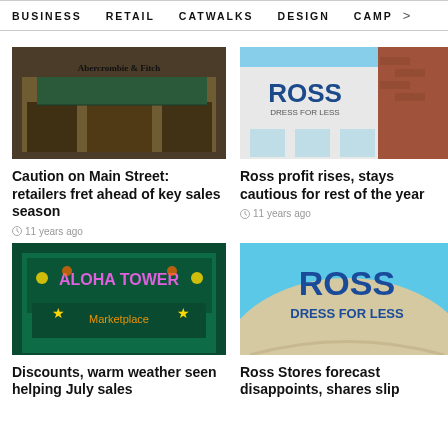BUSINESS   RETAIL   CATWALKS   DESIGN   CAMP >
[Figure (photo): Abercrombie & Fitch store exterior with green awning]
Caution on Main Street: retailers fret ahead of key sales season
11 years ago
[Figure (photo): Ross Dress for Less store exterior with brick building]
Ross profit rises, stays cautious for rest of the year
11 years ago
[Figure (photo): Aloha Tower marketplace exterior with colorful neon signs]
Discounts, warm weather seen helping July sales
[Figure (photo): Ross Dress for Less sign close-up]
Ross Stores forecast disappoints, shares slip